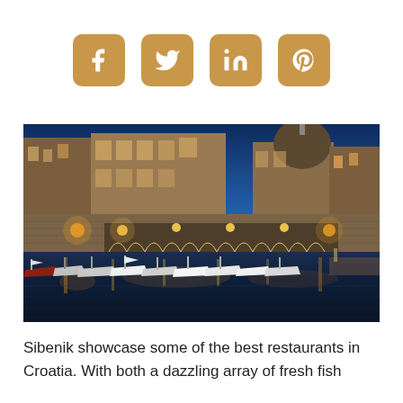[Figure (infographic): Four social media sharing buttons (Facebook, Twitter, LinkedIn, Pinterest) rendered as golden/tan rounded square icons with white symbols]
[Figure (photo): Night photo of Sibenik Croatia harbor waterfront with boats moored in foreground, warm glowing lights reflecting on water, stone walls and historic buildings including a domed church visible behind, illuminated arcaded restaurant area]
Sibenik showcase some of the best restaurants in Croatia. With both a dazzling array of fresh fish